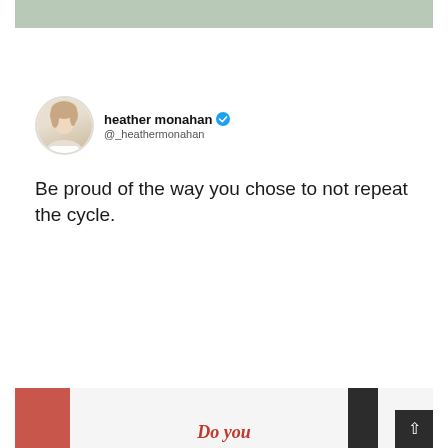[Figure (screenshot): Top sage/green colored image strip at the top of the page]
[Figure (screenshot): Tweet screenshot from heather monahan (@_heathermonahan) with verified badge. Tweet text: Be proud of the way you chose to not repeat the cycle.]
[Figure (screenshot): Bottom partial image showing red and dark vertical bars with text 'Do you' in red italic serif font]